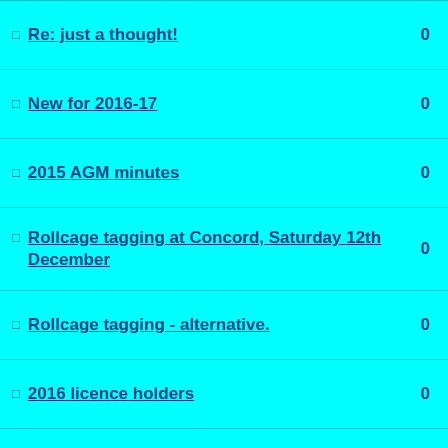Re: just a thought! 0
New for 2016-17 0
2015 AGM minutes 0
Rollcage tagging at Concord, Saturday 12th December 0
Rollcage tagging - alternative. 0
2016 licence holders 0
Abuse issues 0